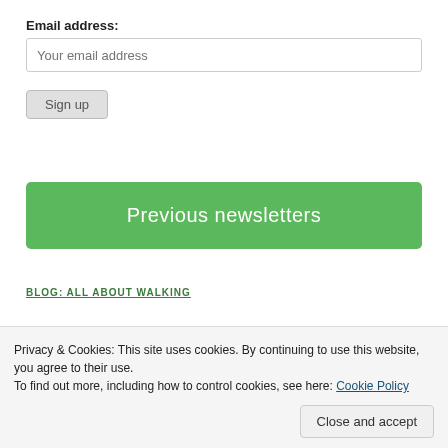Email address:
Your email address
Sign up
Previous newsletters
BLOG: ALL ABOUT WALKING
Privacy & Cookies: This site uses cookies. By continuing to use this website, you agree to their use.
To find out more, including how to control cookies, see here: Cookie Policy
Close and accept